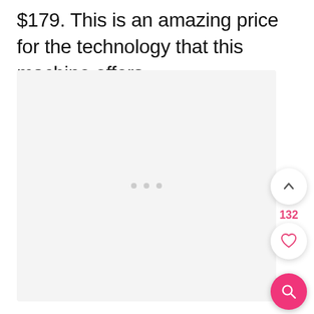$179. This is an amazing price for the technology that this machine offers.
[Figure (screenshot): Light gray image placeholder area with three small gray dots in the center, representing a loading or empty image state. UI overlay buttons on the right: an up-arrow button, a count of 132, a heart/favorite button, and a pink search button.]